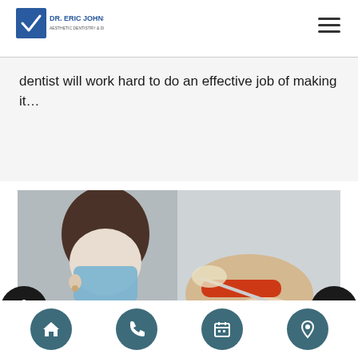Dr. Eric Johnson
dentist will work hard to do an effective job of making it…
[Figure (photo): Dental professional wearing a blue mask and gloves performing a dental procedure on a patient wearing red protective eyewear]
Home | Phone | Calendar | Location